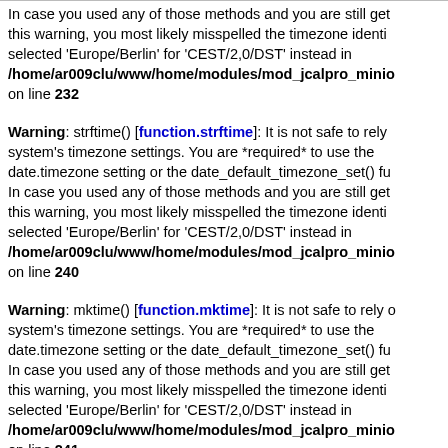In case you used any of those methods and you are still getting this warning, you most likely misspelled the timezone identifier selected 'Europe/Berlin' for 'CEST/2,0/DST' instead in /home/ar009clu/www/home/modules/mod_jcalpro_minio on line 232
Warning: strftime() [function.strftime]: It is not safe to rely on the system's timezone settings. You are *required* to use the date.timezone setting or the date_default_timezone_set() function. In case you used any of those methods and you are still getting this warning, you most likely misspelled the timezone identifier selected 'Europe/Berlin' for 'CEST/2,0/DST' instead in /home/ar009clu/www/home/modules/mod_jcalpro_minio on line 240
Warning: mktime() [function.mktime]: It is not safe to rely on the system's timezone settings. You are *required* to use the date.timezone setting or the date_default_timezone_set() function. In case you used any of those methods and you are still getting this warning, you most likely misspelled the timezone identifier selected 'Europe/Berlin' for 'CEST/2,0/DST' instead in /home/ar009clu/www/home/modules/mod_jcalpro_minio on line 241
Warning: date() [function.date]: It is not safe to rely on the...